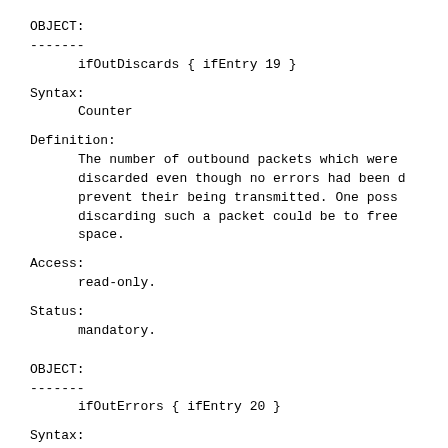OBJECT:
-------
        ifOutDiscards { ifEntry 19 }
Syntax:
        Counter
Definition:
        The number of outbound packets which were discarded even though no errors had been detected to prevent their being transmitted.  One possible reason for discarding such a packet could be to free up buffer space.
Access:
        read-only.
Status:
        mandatory.
OBJECT:
-------
        ifOutErrors { ifEntry 20 }
Syntax:
        Counter